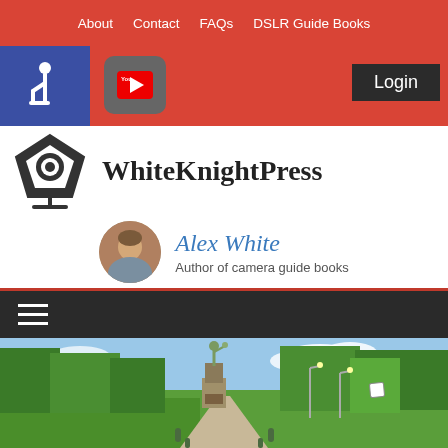About  Contact  FAQs  DSLR Guide Books
[Figure (screenshot): Accessibility icon (wheelchair symbol) in blue box and YouTube icon in grey rounded box, with Login button on red background bar]
WhiteKnightPress
Alex White – Author of camera guide books
[Figure (photo): Outdoor park scene with statue of Liberty replica on stone pedestal, green trees, pathway, and blue sky with clouds]